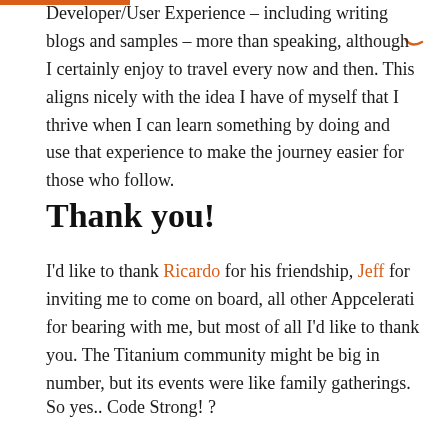Developer/User Experience – including writing blogs and samples – more than speaking, although I certainly enjoy to travel every now and then. This aligns nicely with the idea I have of myself that I thrive when I can learn something by doing and use that experience to make the journey easier for those who follow.
Thank you!
I'd like to thank Ricardo for his friendship, Jeff for inviting me to come on board, all other Appcelerati for bearing with me, but most of all I'd like to thank you. The Titanium community might be big in number, but its events were like family gatherings.
So yes.. Code Strong! ?